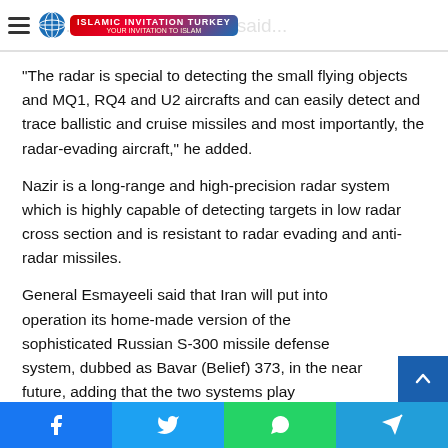Islamic Invitation Turkey
“The radar is special to detecting the small flying objects and MQ1, RQ4 and U2 aircrafts and can easily detect and trace ballistic and cruise missiles and most importantly, the radar-evading aircraft,” he added.
Nazir is a long-range and high-precision radar system which is highly capable of detecting targets in low radar cross section and is resistant to radar evading and anti-radar missiles.
General Esmayeeli said that Iran will put into operation its home-made version of the sophisticated Russian S-300 missile defense system, dubbed as Bavar (Belief) 373, in the near future, adding that the two systems play complementary roles for each other.
Facebook | Twitter | WhatsApp | Telegram